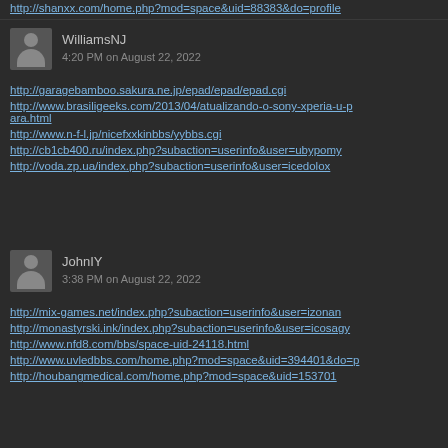http://shanxx.com/home.php?mod=space&uid=88383&do=profile
WilliamsNJ
4:20 PM on August 22, 2022
http://garagebamboo.sakura.ne.jp/epad/epad/epad.cgi
http://www.brasiligeeks.com/2013/04/atualizando-o-sony-xperia-u-para.html
http://www.n-f-l.jp/nicefxxkinbbs/yybbs.cgi
http://cb1cb400.ru/index.php?subaction=userinfo&user=ubypomy
http://voda.zp.ua/index.php?subaction=userinfo&user=icedolox
JohnIY
3:38 PM on August 22, 2022
http://mix-games.net/index.php?subaction=userinfo&user=izonan
http://monastyrski.ink/index.php?subaction=userinfo&user=icosagy
http://www.nfd8.com/bbs/space-uid-24118.html
http://www.uvledbbs.com/home.php?mod=space&uid=394401&do=p
http://houbangmedical.com/home.php?mod=space&uid=153701